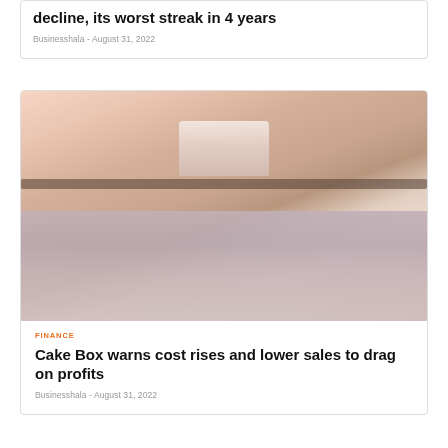decline, its worst streak in 4 years
Businesshala  -  August 31, 2022
[Figure (photo): Photo of assorted decorated cakes displayed on shelves, with white frosted cakes on upper shelf and colorful decorated cakes on lower shelf, muted warm tones.]
FINANCE
Cake Box warns cost rises and lower sales to drag on profits
Businesshala  -  August 31, 2022